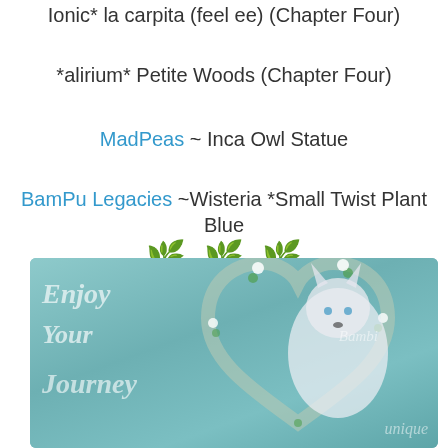Ionic* la carpita (feel ee) (Chapter Four)
*alirium* Petite Woods (Chapter Four)
MadPeas ~ Inca Owl Statue
BamPu Legacies ~Wisteria *Small Twist Plant Blue
[Figure (illustration): Decorative green leaf/seed emoji dots used as section divider]
[Figure (illustration): Teal painted banner image with a white wolf/fox standing inside a floral heart wreath, with cursive script text reading Enjoy Your Journey, and a watermark. Decorative nature and fantasy themed image.]